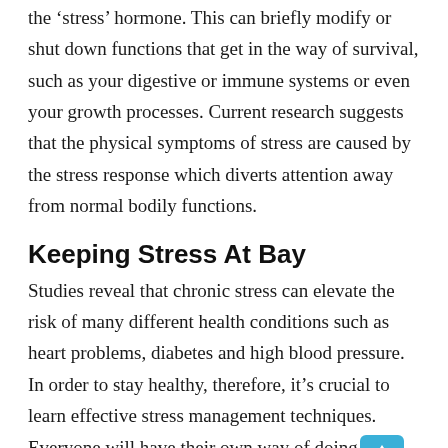the 'stress' hormone. This can briefly modify or shut down functions that get in the way of survival, such as your digestive or immune systems or even your growth processes. Current research suggests that the physical symptoms of stress are caused by the stress response which diverts attention away from normal bodily functions.
Keeping Stress At Bay
Studies reveal that chronic stress can elevate the risk of many different health conditions such as heart problems, diabetes and high blood pressure. In order to stay healthy, therefore, it's crucial to learn effective stress management techniques. Everyone will have their own way of doing , however, some suggested methods include: